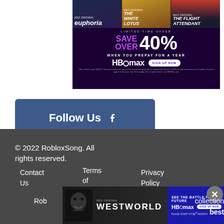[Figure (photo): HBO Max advertisement banner showing Euphoria, The White Lotus, and The Flight Attendant with a limited-time offer to save over 40% when prepaying for a year. Includes HBOmax logo and Sign Up Now button.]
[Figure (other): Follow Us button with Facebook icon on a steel blue background]
© 2022 RobloxSong. All rights reserved.
Contact Us
Terms of Use
Privacy Policy
[Figure (photo): Westworld HBO Original advertisement showing a skull image, the Westworld title, and HBOmax sign up now with 'See the battle for the future' and 'Plans start at $9.99/month'. Contains close button.]